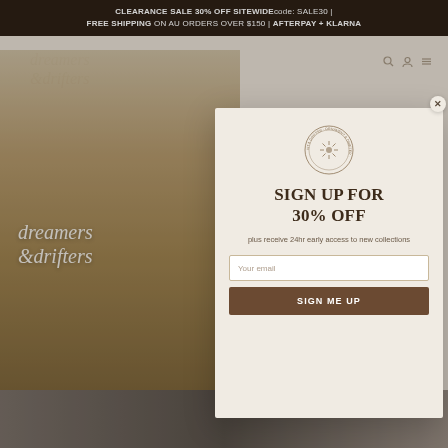CLEARANCE SALE 30% OFF SITEWIDE code: SALE30 | FREE SHIPPING ON AU ORDERS OVER $150 | AFTERPAY + KLARNA
[Figure (photo): Screenshot of a fashion e-commerce website (dreamers & drifters) showing a young woman with blonde hair wearing a yellow floral slip dress, taking a mirror selfie holding a smartphone, with brand watermark text 'dreamers & drifters' overlaid on the photo]
[Figure (screenshot): Email signup modal popup overlay on top of the website. Contains a circular logo/stamp, heading 'SIGN UP FOR 30% OFF', subtext 'plus receive 24hr early access to new collections', an email input field, and a 'SIGN ME UP' button. Close button (x) in top right corner of modal.]
SIGN UP FOR 30% OFF
plus receive 24hr early access to new collections
Your email
SIGN ME UP